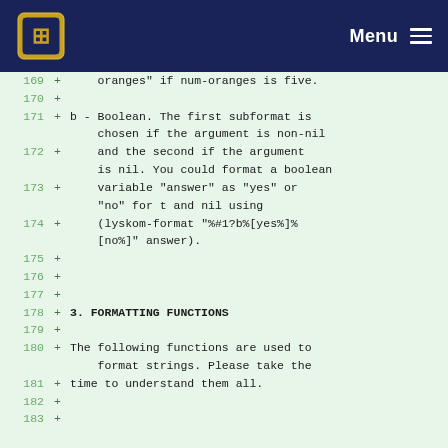Menu
169  +     oranges" if num-oranges is five.
170  +
171  + b - Boolean. The first subformat is chosen if the argument is non-nil
172  +     and the second if the argument is nil. You could format a boolean
173  +     variable "answer" as "yes" or "no" for t and nil using
174  +     (lyskom-format "%#1?b%[yes%]%[no%]" answer).
175  +
176  +
177  +
178  + 3. FORMATTING FUNCTIONS
179  +
180  + The following functions are used to format strings. Please take the
181  + time to understand them all.
182  +
183  +